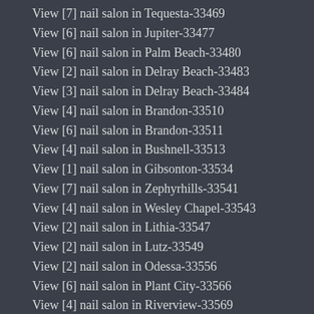View [7] nail salon in Tequesta-33469
View [6] nail salon in Jupiter-33477
View [6] nail salon in Palm Beach-33480
View [2] nail salon in Delray Beach-33483
View [3] nail salon in Delray Beach-33484
View [4] nail salon in Brandon-33510
View [6] nail salon in Brandon-33511
View [4] nail salon in Bushnell-33513
View [1] nail salon in Gibsonton-33534
View [7] nail salon in Zephyrhills-33541
View [4] nail salon in Wesley Chapel-33543
View [2] nail salon in Lithia-33547
View [2] nail salon in Lutz-33549
View [2] nail salon in Odessa-33556
View [6] nail salon in Plant City-33566
View [4] nail salon in Riverview-33569
View [4] nail salon in Ruskin-33570
View [6] nail salon in Apollo Beach-33572
View [3] nail salon in Sun City Center-33573
View [6] nail salon in Seffner-33584
View [2] nail salon in Thonotosassa-33592